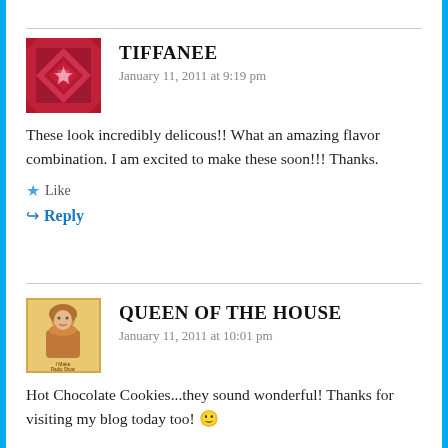[Figure (illustration): Avatar image for Tiffanee - red/magenta geometric quilt pattern square]
TIFFANEE
January 11, 2011 at 9:19 pm
These look incredibly delicous!! What an amazing flavor combination. I am excited to make these soon!!! Thanks.
★ Like
↪ Reply
[Figure (illustration): Avatar image for Queen of the House - vintage illustration of woman baking]
QUEEN OF THE HOUSE
January 11, 2011 at 10:01 pm
Hot Chocolate Cookies...they sound wonderful! Thanks for visiting my blog today too! 🙂